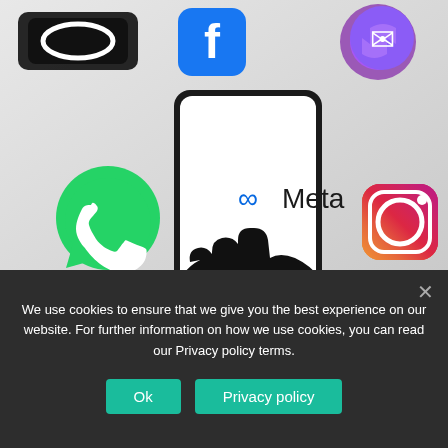[Figure (photo): A hand holding a smartphone displaying the Meta logo, surrounded by social media app icons including Facebook, Messenger, WhatsApp, and Instagram on a light background.]
June 24, 2022  Editor  0
Meta moderation panel receives appeals
Meta moderation panel receives a appeals The owner…
We use cookies to ensure that we give you the best experience on our website. For further information on how we use cookies, you can read our Privacy policy terms.
Ok
Privacy policy